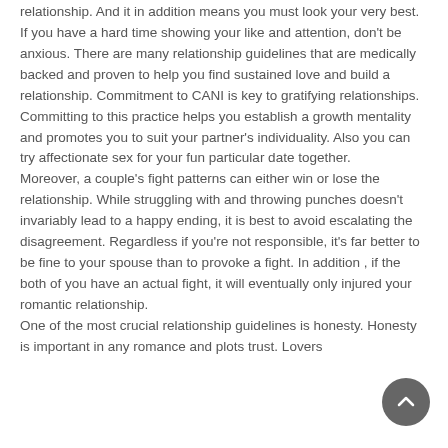relationship. And it in addition means you must look your very best. If you have a hard time showing your like and attention, don't be anxious. There are many relationship guidelines that are medically backed and proven to help you find sustained love and build a relationship. Commitment to CANI is key to gratifying relationships. Committing to this practice helps you establish a growth mentality and promotes you to suit your partner's individuality. Also you can try affectionate sex for your fun particular date together. Moreover, a couple's fight patterns can either win or lose the relationship. While struggling with and throwing punches doesn't invariably lead to a happy ending, it is best to avoid escalating the disagreement. Regardless if you're not responsible, it's far better to be fine to your spouse than to provoke a fight. In addition , if the both of you have an actual fight, it will eventually only injured your romantic relationship. One of the most crucial relationship guidelines is honesty. Honesty is important in any romance and plots trust. Lovers